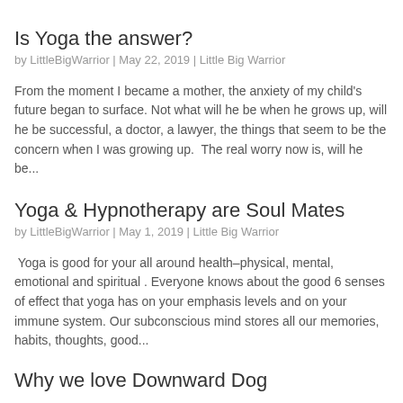Is Yoga the answer?
by LittleBigWarrior | May 22, 2019 | Little Big Warrior
From the moment I became a mother, the anxiety of my child's future began to surface. Not what will he be when he grows up, will he be successful, a doctor, a lawyer, the things that seem to be the concern when I was growing up.  The real worry now is, will he be...
Yoga & Hypnotherapy are Soul Mates
by LittleBigWarrior | May 1, 2019 | Little Big Warrior
Yoga is good for your all around health–physical, mental, emotional and spiritual . Everyone knows about the good 6 senses of effect that yoga has on your emphasis levels and on your immune system. Our subconscious mind stores all our memories, habits, thoughts, good...
Why we love Downward Dog